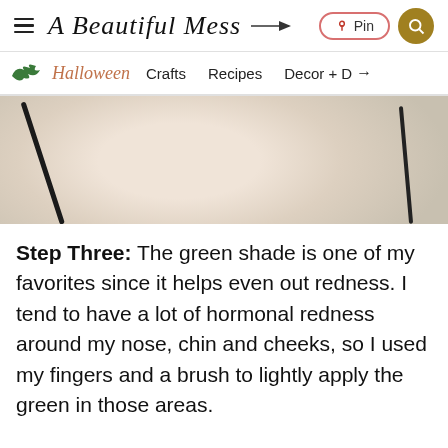A Beautiful Mess — Pin — Search
[Figure (screenshot): Navigation bar with Halloween bat logo, Halloween text in script, Crafts, Recipes, Decor + more navigation items]
[Figure (photo): Close-up of a blonde-haired person with a makeup brush being applied near their face/ear area]
Step Three: The green shade is one of my favorites since it helps even out redness. I tend to have a lot of hormonal redness around my nose, chin and cheeks, so I used my fingers and a brush to lightly apply the green in those areas.